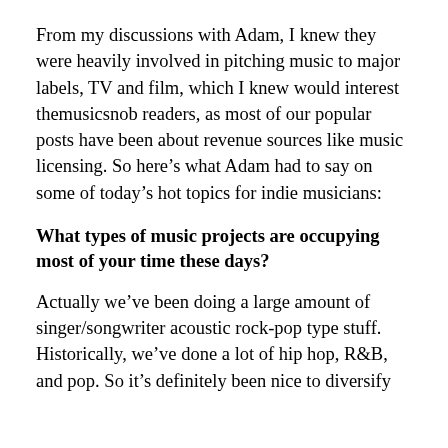From my discussions with Adam, I knew they were heavily involved in pitching music to major labels, TV and film, which I knew would interest themusicsnob readers, as most of our popular posts have been about revenue sources like music licensing. So here’s what Adam had to say on some of today’s hot topics for indie musicians:
What types of music projects are occupying most of your time these days?
Actually we’ve been doing a large amount of singer/songwriter acoustic rock-pop type stuff. Historically, we’ve done a lot of hip hop, R&B, and pop. So it’s definitely been nice to diversify